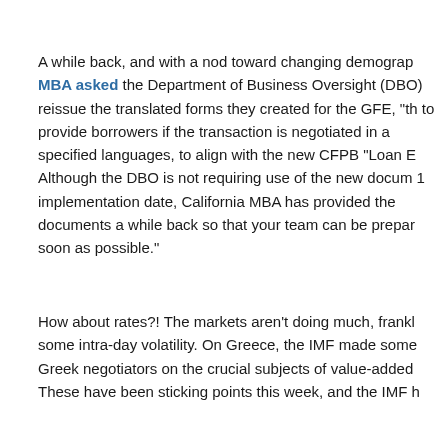A while back, and with a nod toward changing demographics, MBA asked the Department of Business Oversight (DBO) reissue the translated forms they created for the GFE, "th to provide borrowers if the transaction is negotiated in a specified languages, to align with the new CFPB "Loan E Although the DBO is not requiring use of the new docum 1 implementation date, California MBA has provided the documents a while back so that your team can be prepar soon as possible."
How about rates?! The markets aren't doing much, frankl some intra-day volatility. On Greece, the IMF made some Greek negotiators on the crucial subjects of value-added These have been sticking points this week, and the IMF h